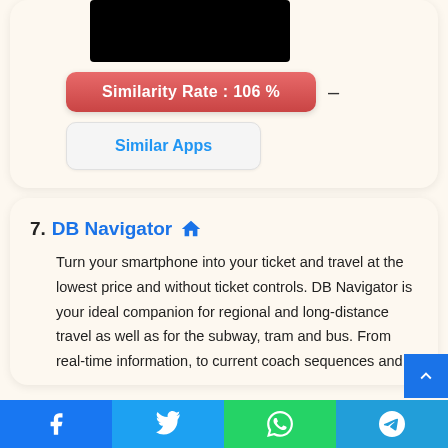[Figure (screenshot): Black screenshot/image area at top of card]
Similarity Rate : 106 %
Similar Apps
7. DB Navigator 🏠
Turn your smartphone into your ticket and travel at the lowest price and without ticket controls. DB Navigator is your ideal companion for regional and long-distance travel as well as for the subway, tram and bus. From real-time information, to current coach sequences and